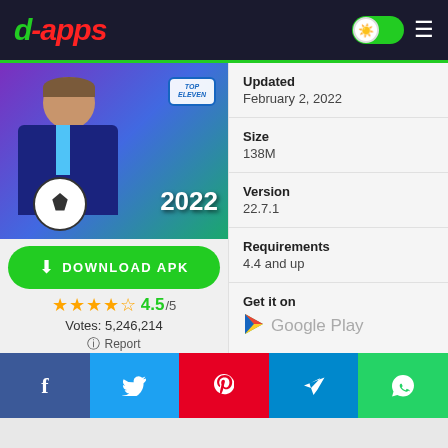d-apps
[Figure (screenshot): Top Eleven 2022 football manager game app banner showing a coach holding a soccer ball with the game logo and year 2022]
DOWNLOAD APK
4.5/5
Votes: 5,246,214
Report
Updated
February 2, 2022
Size
138M
Version
22.7.1
Requirements
4.4 and up
Get it on
Google Play
[Figure (logo): Google Play logo triangle icon]